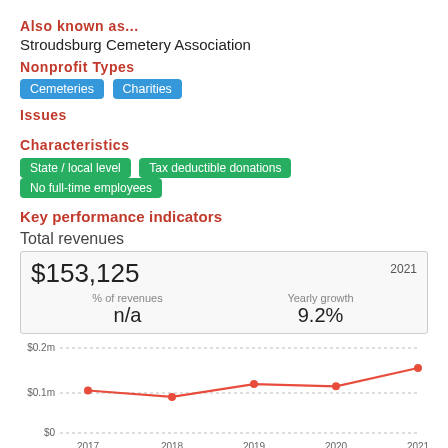Also known as...
Stroudsburg Cemetery Association
Nonprofit Types
Cemeteries
Charities
Issues
Characteristics
State / local level
Tax deductible donations
No full-time employees
Key performance indicators
Total revenues
$153,125
2021
% of revenues
n/a
Yearly growth
9.2%
[Figure (line-chart): Total revenues]
Total expenses